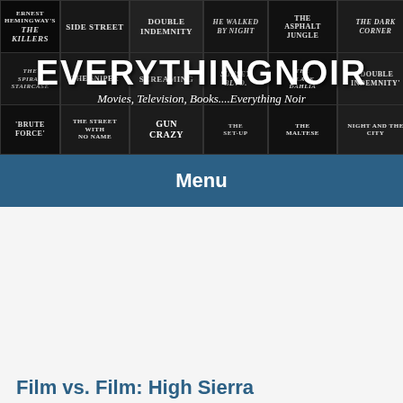[Figure (photo): Film noir movie poster collage banner showing titles: The Killers, Side Street, Double Indemnity, He Walked By Night, The Asphalt Jungle, The Dark Corner, The Spiral Staircase, The Sniper, Screaming, Sunset Blvd, The Black Dahlia, Double Indemnity, Brute Force, The Street With No Name, Gun Crazy, The Set-Up, The Maltese Falcon, Night and the City]
EVERYTHINGNOIR
Movies, Television, Books....Everything Noir
Menu
Home > Posts tagged 'Alan Curtis'
Privacy & Cookies: This site uses cookies. By continuing to use this website, you agree to their use.
To find out more, including how to control cookies, see here: Cookie Policy
Close and accept
Film vs. Film: High Sierra